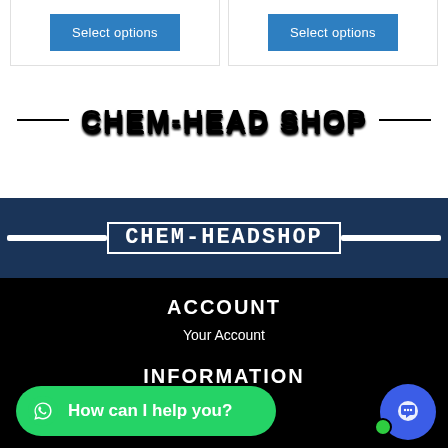[Figure (screenshot): Two product card buttons with 'Select options' in blue]
CHEM-HEAD SHOP
[Figure (logo): CHEM-HEADSHOP logo on dark navy banner with white lines on either side]
ACCOUNT
Your Account
INFORMATION
...thods
[Figure (other): WhatsApp chat bubble: How can I help you?]
[Figure (other): Blue chat circle button with green online dot]